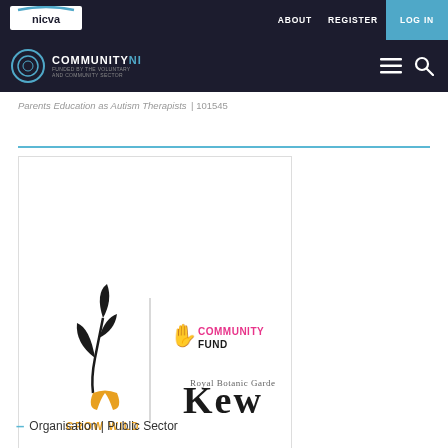ABOUT  REGISTER  LOG IN
[Figure (logo): NICVA logo on dark navigation bar]
[Figure (logo): Community NI logo on dark secondary navigation bar with hamburger menu and search icon]
Parents Education as Autism Therapists | 101545
[Figure (logo): Grow Wild and National Lottery Community Fund and Royal Botanic Gardens Kew combined logo image inside a white bordered box]
– Organisation | Public Sector